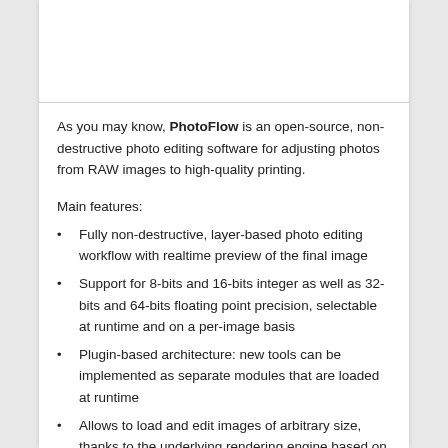As you may know, PhotoFlow is an open-source, non-destructive photo editing software for adjusting photos from RAW images to high-quality printing.
Main features:
Fully non-destructive, layer-based photo editing workflow with realtime preview of the final image
Support for 8-bits and 16-bits integer as well as 32-bits and 64-bits floating point precision, selectable at runtime and on a per-image basis
Plugin-based architecture: new tools can be implemented as separate modules that are loaded at runtime
Allows to load and edit images of arbitrary size, thanks to the underlying rendering engine based on the VIPS library